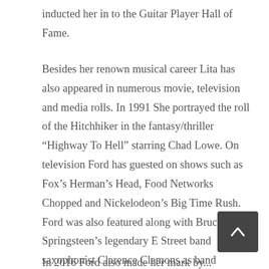inducted her in to the Guitar Player Hall of Fame.
Besides her renown musical career Lita has also appeared in numerous movie, television and media rolls. In 1991 She portrayed the roll of the Hitchhiker in the fantasy/thriller “Highway To Hell” starring Chad Lowe. On television Ford has guested on shows such as Fox’s Herman’s Head, Food Networks Chopped and Nickelodeon’s Big Time Rush. Ford was also featured along with Bruce Springsteen’s legendary E Street band saxophonist Clarence Clemons as band members of The Howie Mandel Show’s Studio One Band. In 2009 Lita was cast to voice the roll of Rima for the action adventure video game Brutal Legend.
In 2016 Ford also made her mark by...